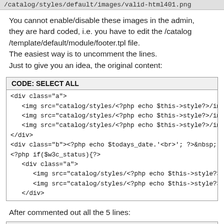/catalog/styles/default/images/valid-html401.png
You cannot enable/disable these images in the admin, they are hard coded, i.e. you have to edit the /catalog/template/default/module/footer.tpl file.
The easiest way is to uncomment the lines.
Just to give you an idea, the original content:
| CODE: SELECT ALL |
| --- |
| <div class="a"> |
|    <img src="catalog/styles/<?php echo $this->style?>/ima |
|    <img src="catalog/styles/<?php echo $this->style?>/ima |
|    <img src="catalog/styles/<?php echo $this->style?>/ima |
| </div> |
| <div class="b"><?php echo $todays_date.'<br>'; ?>&nbsp; |
| <?php if($w3c_status){?> |
|    <div class="a"> |
|       <img src="catalog/styles/<?php echo $this->style?>/ |
|       <img src="catalog/styles/<?php echo $this->style?>/ |
|    </div> |
After commented out all the 5 lines:
| CODE: SELECT ALL |
| --- |
| <div class="a"> |
| <!--   <img src="catalog/styles/<?php echo $this->style |